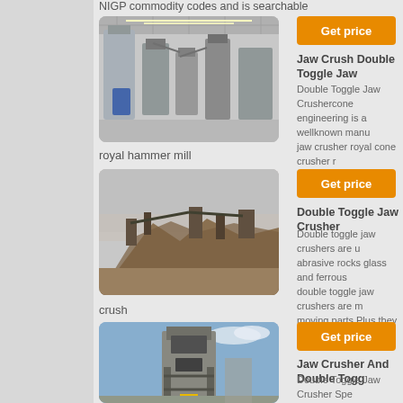NIGP commodity codes and is searchable
[Figure (photo): Industrial facility with silos and processing equipment indoors]
[Figure (other): Orange Get price button]
Jaw Crush Double Toggle Jaw
Double Toggle Jaw Crushercone engineering is a wellknown manu jaw crusher royal cone crusher r impactor royal roll crusher royal s
royal hammer mill
[Figure (photo): Outdoor mining/crushing site with large equipment and earth mounds]
[Figure (other): Orange Get price button]
Double Toggle Jaw Crusher
Double toggle jaw crushers are u abrasive rocks glass and ferrous double toggle jaw crushers are m moving parts Plus they don't incl
crush
[Figure (photo): Industrial crushing machine tower against blue sky]
[Figure (other): Orange Get price button]
Jaw Crusher And Double Togg
Double Toggle Jaw Crusher Spe bearing in two sides Large jet en crush the input material in crushi